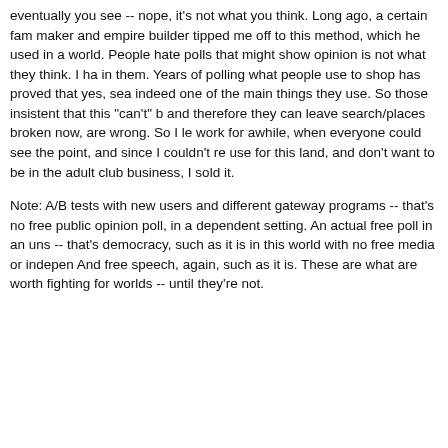eventually you see -- nope, it's not what you think. Long ago, a certain fam maker and empire builder tipped me off to this method, which he used in a world. People hate polls that might show opinion is not what they think. I ha in them. Years of polling what people use to shop has proved that yes, sea indeed one of the main things they use. So those insistent that this "can't" b and therefore they can leave search/places broken now, are wrong. So I le work for awhile, when everyone could see the point, and since I couldn't re use for this land, and don't want to be in the adult club business, I sold it.
Note: A/B tests with new users and different gateway programs -- that's no free public opinion poll, in a dependent setting. An actual free poll in an uns -- that's democracy, such as it is in this world with no free media or indepen And free speech, again, such as it is. These are what are worth fighting for worlds -- until they're not.